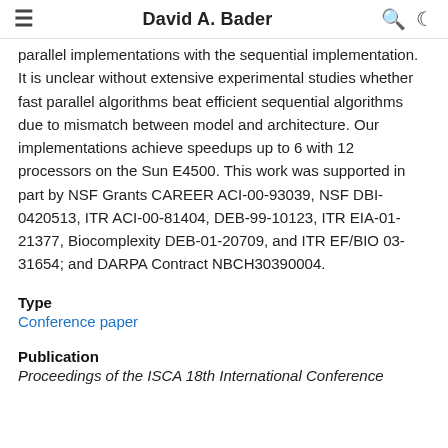David A. Bader
parallel implementations with the sequential implementation. It is unclear without extensive experimental studies whether fast parallel algorithms beat efficient sequential algorithms due to mismatch between model and architecture. Our implementations achieve speedups up to 6 with 12 processors on the Sun E4500. This work was supported in part by NSF Grants CAREER ACI-00-93039, NSF DBI-0420513, ITR ACI-00-81404, DEB-99-10123, ITR EIA-01-21377, Biocomplexity DEB-01-20709, and ITR EF/BIO 03-31654; and DARPA Contract NBCH30390004.
Type
Conference paper
Publication
Proceedings of the ISCA 18th International Conference